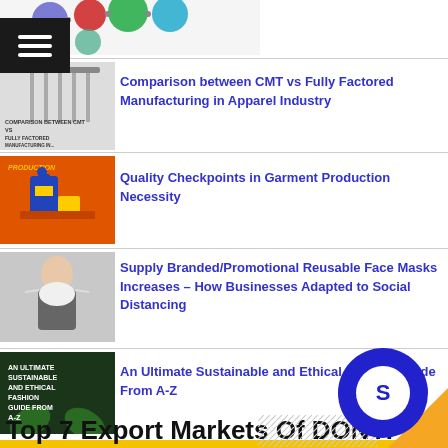[Figure (other): Circular diagram with colored circles at top of page]
[Figure (other): Navigation menu icon (hamburger) overlay on image]
[Figure (other): Thumbnail: Comparison between CMT vs Fully Factored Manufacturing in Apparel Industry]
Comparison between CMT vs Fully Factored Manufacturing in Apparel Industry
[Figure (other): Thumbnail: Production quality checkpoints - orange background with factory illustration]
Quality Checkpoints in Garment Production Necessity
[Figure (other): Thumbnail: Person wearing white face mask]
Supply Branded/Promotional Reusable Face Masks Increases – How Businesses Adapted to Social Distancing
[Figure (other): Thumbnail: An Ultimate Sustainable and Ethical Fashion Guide From A-Z on dark green background]
An Ultimate Sustainable and Ethical Fashion Guide From A-Z
Top 7 Export Markets Of DONY: